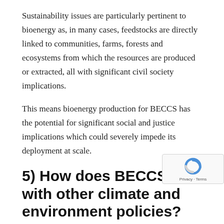Sustainability issues are particularly pertinent to bioenergy as, in many cases, feedstocks are directly linked to communities, farms, forests and ecosystems from which the resources are produced or extracted, all with significant civil society implications.
This means bioenergy production for BECCS has the potential for significant social and justice implications which could severely impede its deployment at scale.
5) How does BECCS fit with other climate and environment policies?
CCS and BECCS add a cost to an existing process to deliver a service which is not currently valued, namely long-term storage of CO2. The key driver for CCS and BECCS is climate (which makes these the …